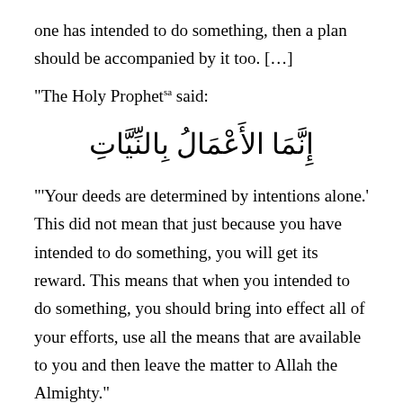one has intended to do something, then a plan should be accompanied by it too. […]
“The Holy Prophetsa said:
إِنَّمَا الأعْمَالُ بِالنّيَّاتِ
‘‘Your deeds are determined by intentions alone.’ This did not mean that just because you have intended to do something, you will get its reward. This means that when you intended to do something, you should bring into effect all of your efforts, use all the means that are available to you and then leave the matter to Allah the Almighty.”
Huzooraa said that those who say they have an intention to do something but then don’t act on it actually succumb to severe laziness and sloth – they do not have earnest intentions or desires. They may express in audiences that they have desires to do good